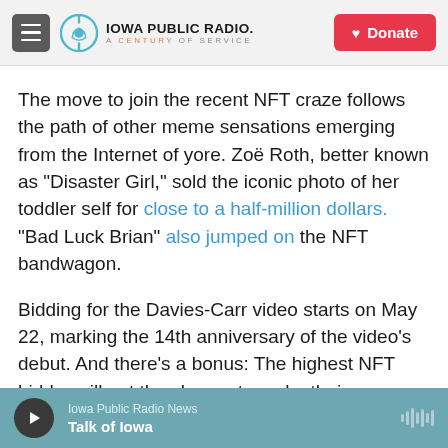Iowa Public Radio. A Century of Service. [Donate button]
The move to join the recent NFT craze follows the path of other meme sensations emerging from the Internet of yore. Zoë Roth, better known as "Disaster Girl," sold the iconic photo of her toddler self for close to a half-million dollars. "Bad Luck Brian" also jumped on the NFT bandwagon.
Bidding for the Davies-Carr video starts on May 22, marking the 14th anniversary of the video's debut. And there's a bonus: The highest NFT bidder will get the chance to make their own "Charlie Bit My Finger" parody with the video's original stars.
Iowa Public Radio News — Talk of Iowa